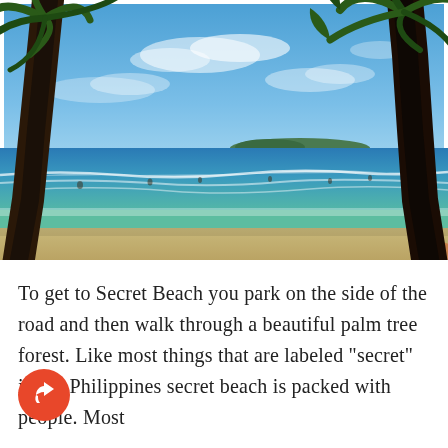[Figure (photo): Beach scene viewed from shade of palm trees. Blue sky with scattered clouds, turquoise ocean with waves, many people surfing and swimming in the water. A distant island or landmass is visible on the horizon. Two large palm tree trunks frame the left and right edges of the photo. Sandy beach in the foreground.]
To get to Secret Beach you park on the side of the road and then walk through a beautiful palm tree forest. Like most things that are labeled “secret” in the Philippines secret beach is packed with people. Most